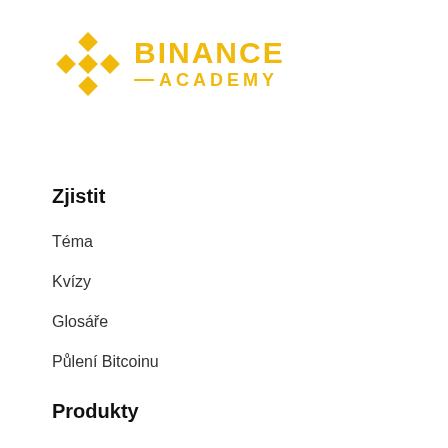[Figure (logo): Binance Academy logo with yellow diamond icon and BINANCE ACADEMY text in yellow]
Zjistit
Téma
Kvízy
Glosáře
Půlení Bitcoinu
Produkty